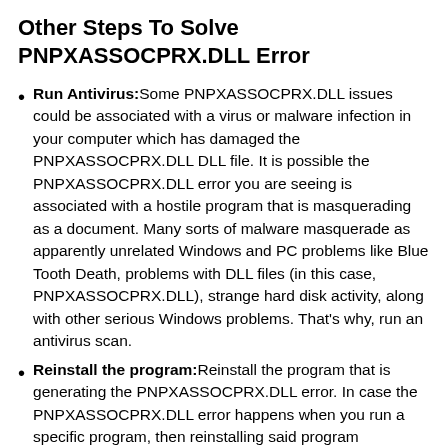Other Steps To Solve PNPXASSOCPRX.DLL Error
Run Antivirus: Some PNPXASSOCPRX.DLL issues could be associated with a virus or malware infection in your computer which has damaged the PNPXASSOCPRX.DLL DLL file. It is possible the PNPXASSOCPRX.DLL error you are seeing is associated with a hostile program that is masquerading as a document. Many sorts of malware masquerade as apparently unrelated Windows and PC problems like Blue Tooth Death, problems with DLL files (in this case, PNPXASSOCPRX.DLL), strange hard disk activity, along with other serious Windows problems. That's why, run an antivirus scan.
Reinstall the program: Reinstall the program that is generating the PNPXASSOCPRX.DLL error. In case the PNPXASSOCPRX.DLL error happens when you run a specific program, then reinstalling said program application could help. By reinstalling